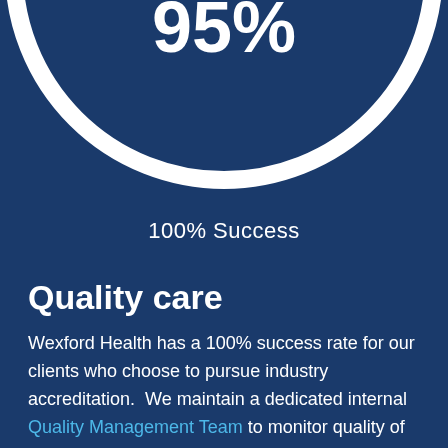[Figure (donut-chart): Partial donut/circle graphic showing 95% with white ring on dark blue background, cropped at top]
100% Success
Quality care
Wexford Health has a 100% success rate for our clients who choose to pursue industry accreditation.  We maintain a dedicated internal Quality Management Team to monitor quality of care and contract compliance, and assist our